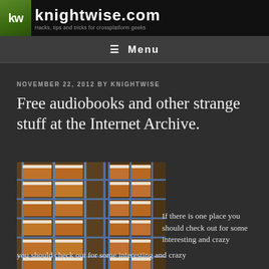kw knightwise.com — Hacks, tips and tricks for crossplatform geeks
≡ Menu
NOVEMBER 22, 2012 BY KNIGHTWISE
Free audiobooks and other strange stuff at the Internet Archive.
[Figure (photo): Shelves filled with rows of brown archival storage boxes on metal shelving units, viewed from a corner angle showing two walls of shelves.]
If there is one place you should check out for some interesting and crazy